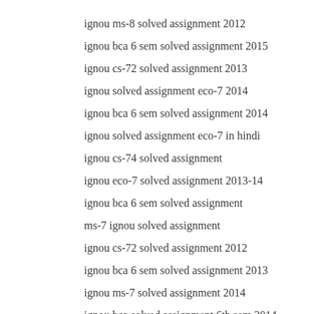ignou ms-8 solved assignment 2012
ignou bca 6 sem solved assignment 2015
ignou cs-72 solved assignment 2013
ignou solved assignment eco-7 2014
ignou bca 6 sem solved assignment 2014
ignou solved assignment eco-7 in hindi
ignou cs-74 solved assignment
ignou eco-7 solved assignment 2013-14
ignou bca 6 sem solved assignment
ms-7 ignou solved assignment
ignou cs-72 solved assignment 2012
ignou bca 6 sem solved assignment 2013
ignou ms-7 solved assignment 2014
ignou bca solved assignment 6th sem 2014
ignou eeg 6 solved assignment